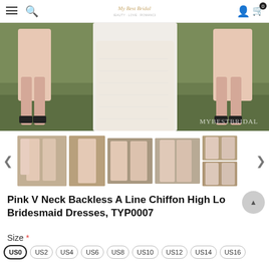My Best Bridal — navigation bar with hamburger menu, search, logo, account, and cart (0 items)
[Figure (photo): Close-up photo of bridesmaids in blush/pink high-low chiffon dresses and black heeled sandals standing on grass, with a bride in white lace dress in the center. MyBestBridal watermark in lower right.]
[Figure (photo): Thumbnail gallery strip showing 5 product photos of bridesmaids in pink high-low dresses with left and right navigation arrows]
Pink V Neck Backless A Line Chiffon High Low Bridesmaid Dresses, TYP0007
Size *
US0 (selected), US2, US4, US6, US8, US10, US12, US14, US16